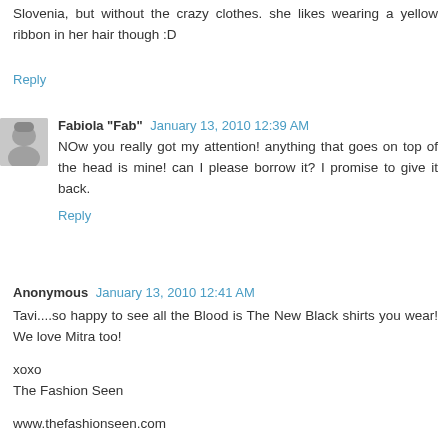Slovenia, but without the crazy clothes. she likes wearing a yellow ribbon in her hair though :D
Reply
Fabiola "Fab" January 13, 2010 12:39 AM
NOw you really got my attention! anything that goes on top of the head is mine! can I please borrow it? I promise to give it back.
Reply
Anonymous January 13, 2010 12:41 AM
Tavi....so happy to see all the Blood is The New Black shirts you wear! We love Mitra too!

xoxo
The Fashion Seen

www.thefashionseen.com